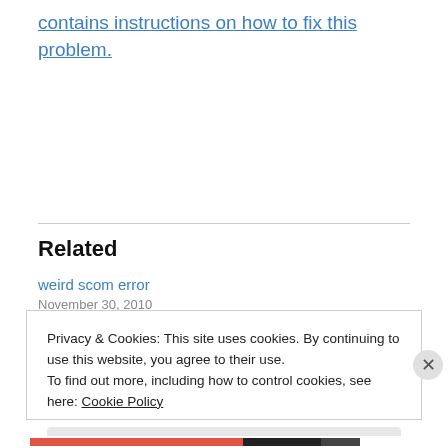contains instructions on how to fix this problem.
Related
weird scom error
November 30, 2010
In "computer geek stuff"
Privacy & Cookies: This site uses cookies. By continuing to use this website, you agree to their use.
To find out more, including how to control cookies, see here: Cookie Policy
Close and accept